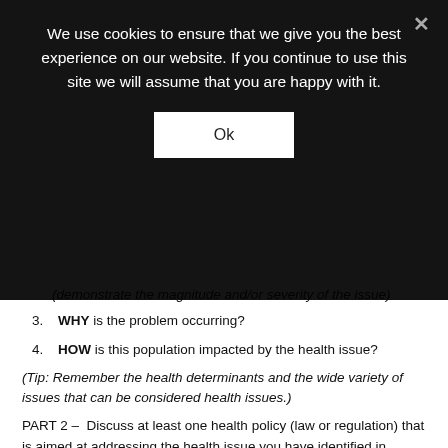We use cookies to ensure that we give you the best experience on our website. If you continue to use this site we will assume that you are happy with it.
Ok
(demonstrate the magnitude and/or severity of the issue)
3. WHY is the problem occurring?
4. HOW is this population impacted by the health issue?
(Tip: Remember the health determinants and the wide variety of issues that can be considered health issues.)
PART 2 –  Discuss at least one health policy (law or regulation) that is aimed at addressing the health issue you have identified in Question #1.  Include in your discussion:
1. IDENTIFY the policy and what it does.
2. WHAT is the goal of the policy?
3. WHICH health determinants does it impact?